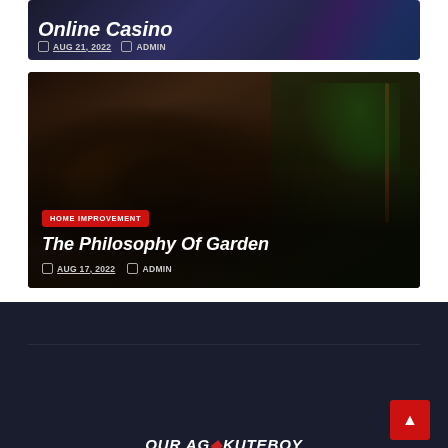[Figure (screenshot): Blog post card with dark casino background showing title 'Online Casino' partially visible, with date AUG 21, 2022 and author ADMIN]
AUG 21, 2022
ADMIN
[Figure (photo): Hands holding dark moist soil/earth near plant stems in a garden setting]
HOME IMPROVEMENT
The Philosophy Of Garden
AUG 17, 2022
ADMIN
[Figure (other): Dark navy footer area with a red scroll-to-top button and partial text at bottom]